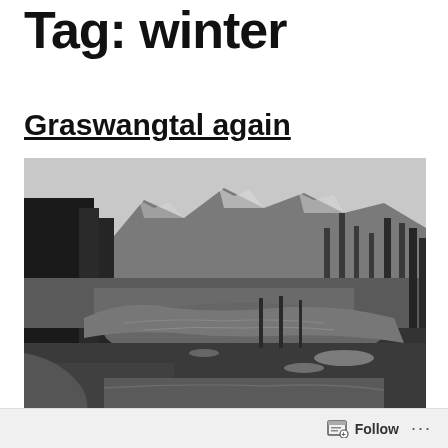Tag: winter
Graswangtal again
[Figure (photo): Black and white landscape photograph of Graswangtal valley showing a winding river or stream with reflections, surrounded by grassy banks, tall trees, and snow-capped mountains in the background under an overcast sky.]
Follow ...